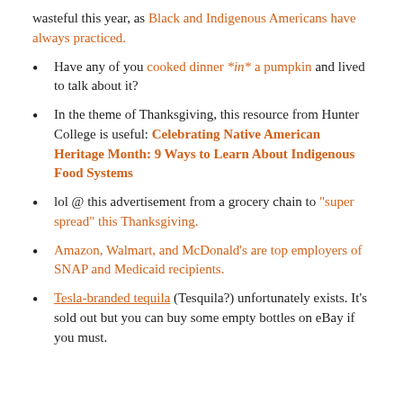wasteful this year, as Black and Indigenous Americans have always practiced.
Have any of you cooked dinner *in* a pumpkin and lived to talk about it?
In the theme of Thanksgiving, this resource from Hunter College is useful: Celebrating Native American Heritage Month: 9 Ways to Learn About Indigenous Food Systems
lol @ this advertisement from a grocery chain to “super spread” this Thanksgiving.
Amazon, Walmart, and McDonald’s are top employers of SNAP and Medicaid recipients.
Tesla-branded tequila (Tesquila?) unfortunately exists. It’s sold out but you can buy some empty bottles on eBay if you must.